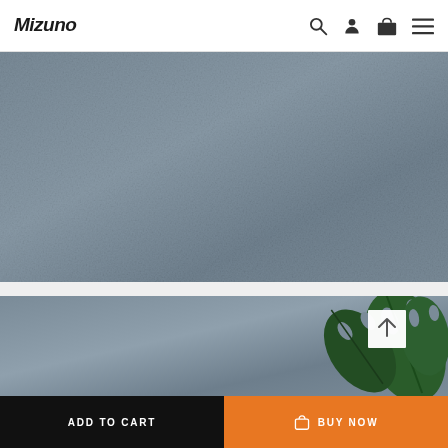Mizuno navigation header with logo, search, account, cart, and menu icons
[Figure (photo): Gray-blue textured background product image area (top)]
[Figure (photo): Gray-blue textured background product image area (bottom) with monstera leaf plant in the bottom-right corner and a white scroll-to-top button with up arrow]
ADD TO CART   BUY NOW